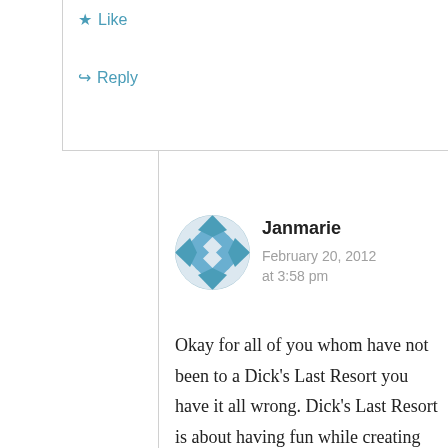★ Like
↪ Reply
[Figure (illustration): Avatar image: a circular geometric pattern made of blue and white diamond/checker shapes, resembling a Gravatar identicon.]
Janmarie
February 20, 2012 at 3:58 pm
Okay for all of you whom have not been to a Dick's Last Resort you have it all wrong. Dick's Last Resort is about having fun while creating